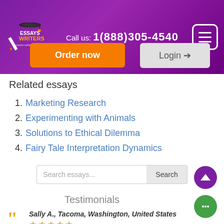Essays Writers - custom writing service | Call us: 1(888)305-4540
[Figure (logo): Essays Writers logo with graduation cap and pencil icon, purple background]
Related essays
1. Marketing Research
2. Experimenting with Animals
3. Solutions to Ethical Dilemma
4. Fairy Tale Interpretation Dynamics
Search essays...
Testimonials
Sally A., Tacoma, Washington, United States